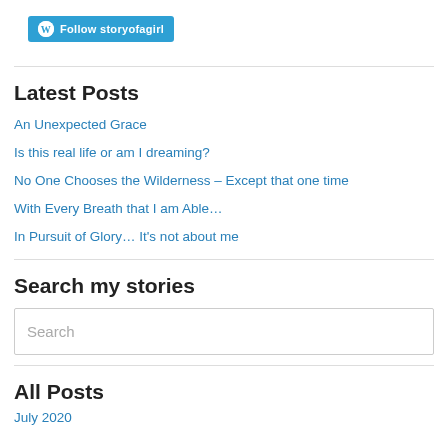[Figure (logo): WordPress Follow button with 'Follow storyofagirl' text in teal/blue]
Latest Posts
An Unexpected Grace
Is this real life or am I dreaming?
No One Chooses the Wilderness – Except that one time
With Every Breath that I am Able…
In Pursuit of Glory… It's not about me
Search my stories
Search
All Posts
July 2020